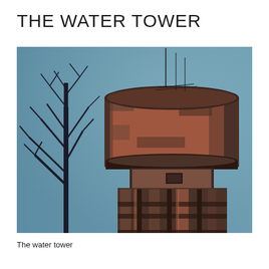THE WATER TOWER
[Figure (photo): Photograph of an old rusted cylindrical water tower with concrete construction, partially weathered and showing rust stains. A bare dark tree silhouette is visible on the left side against a blue-grey sky background.]
The water tower